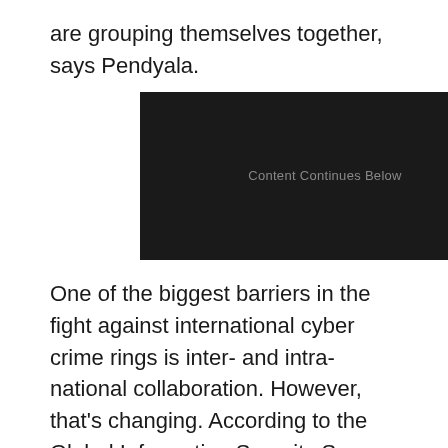are grouping themselves together, says Pendyala.
[Figure (other): Dark advertisement placeholder banner with text 'Content Continues Below']
One of the biggest barriers in the fight against international cyber crime rings is inter- and intra-national collaboration. However, that's changing. According to the Global Information Security Survey (GISS) 2011 that's run by PwC and CSO magazine (a sister publication to CIO)Indian IT and security leaders are ready to give up some of their old resistance to letting the government take more control the first step towards more